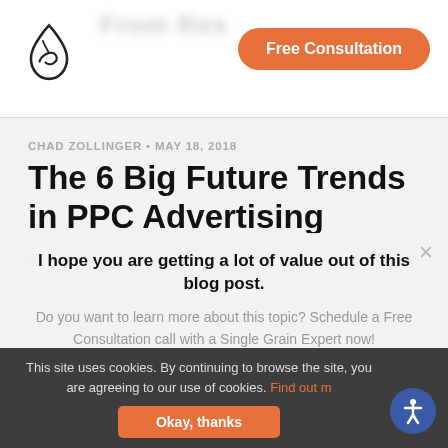Free Consultation
CHAD ZOLLINGER • MAY 18, 2018
The 6 Big Future Trends in PPC Advertising
MANISH DUDHARELIA • OCT 10, 2018
I hope you are getting a lot of value out of this blog post.
Do you want to learn more about this topic? Schedule a Free Consultation call with a Single Grain Expert now!
This site uses cookies. By continuing to browse the site, you are agreeing to our use of cookies. Find out more